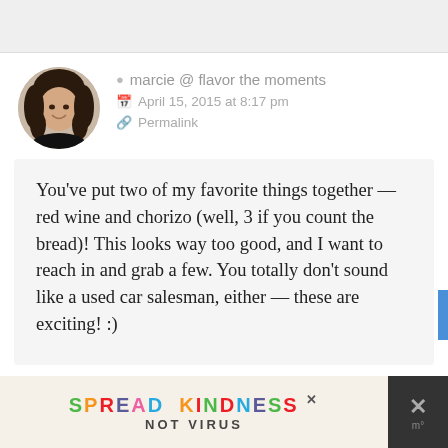[Figure (photo): Circular avatar photo of a woman with dark curly hair wearing a black top, smiling.]
marcie @ flavor the moments
April 15, 2015 at 8:17 pm
Permalink
You’ve put two of my favorite things together — red wine and chorizo (well, 3 if you count the bread)! This looks way too good, and I want to reach in and grab a few. You totally don’t sound like a used car salesman, either — these are exciting! :)
[Figure (photo): Partial circular avatar of another commenter, partially visible at the bottom of the page.]
SPREAD KINDNESS
NOT VIRUS